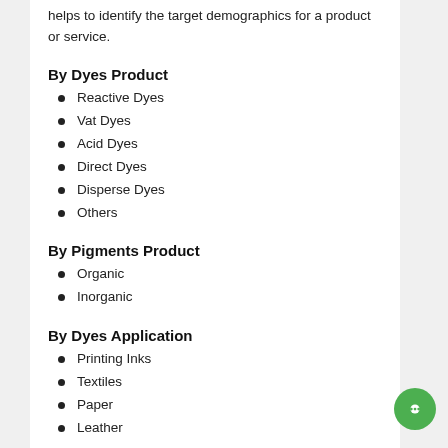helps to identify the target demographics for a product or service.
By Dyes Product
Reactive Dyes
Vat Dyes
Acid Dyes
Direct Dyes
Disperse Dyes
Others
By Pigments Product
Organic
Inorganic
By Dyes Application
Printing Inks
Textiles
Paper
Leather